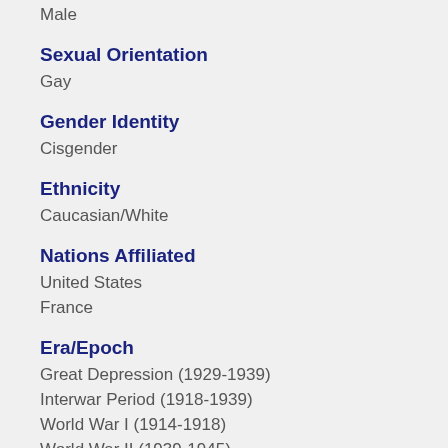Male
Sexual Orientation
Gay
Gender Identity
Cisgender
Ethnicity
Caucasian/White
Nations Affiliated
United States
France
Era/Epoch
Great Depression (1929-1939)
Interwar Period (1918-1939)
World War I (1914-1918)
World War II (1939-1945)